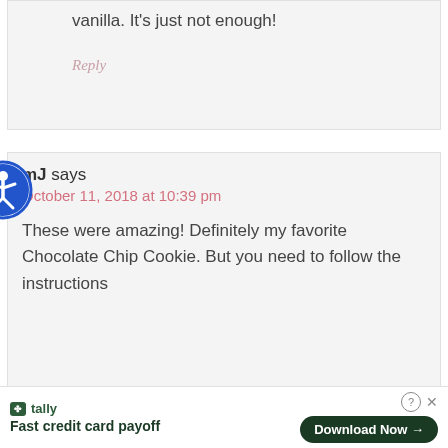vanilla. It's just not enough!
Reply
mJ says
October 11, 2018 at 10:39 pm
These were amazing! Definitely my favorite Chocolate Chip Cookie. But you need to follow the instructions
Fast credit card payoff
Download Now →